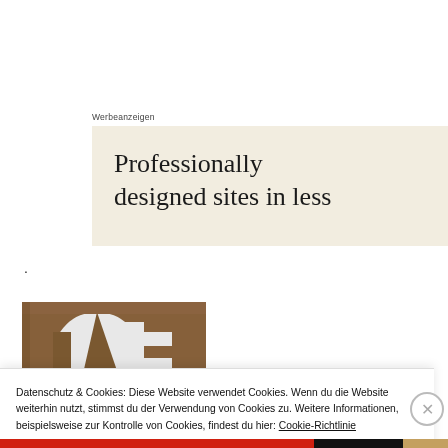Werbeanzeigen
[Figure (illustration): Advertisement banner with beige/cream background showing text 'Professionally designed sites in less']
·
[Figure (photo): Photo showing white cut-out shapes (possibly letters or logo) on a wooden brown background]
Datenschutz & Cookies: Diese Website verwendet Cookies. Wenn du die Website weiterhin nutzt, stimmst du der Verwendung von Cookies zu. Weitere Informationen, beispielsweise zur Kontrolle von Cookies, findest du hier: Cookie-Richtlinie
Schließen und Akzeptieren